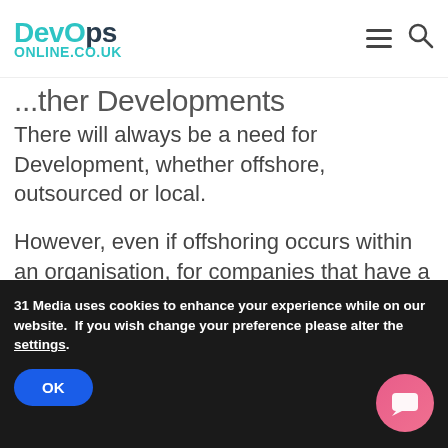DevOps ONLINE.CO.UK
...ther Developments
There will always be a need for Development, whether offshore, outsourced or local.
However, even if offshoring occurs within an organisation, for companies that have a highly skilled UK Development team their skills are likely to focus on more complex engineering, AI, analytics, or leading/orchestrating technical projects.
31 Media uses cookies to enhance your experience while on our website.  If you wish change your preference please alter the settings.
OK